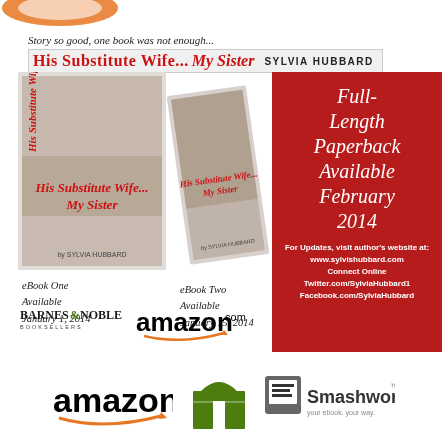[Figure (logo): Top bar with partial logo visible]
Story so good, one book was not enough...
His Substitute Wife...My Sister SYLVIA HUBBARD
[Figure (photo): Two book covers side by side for His Substitute Wife...My Sister by Sylvia Hubbard]
eBook One
Available
January 1, 2014
eBook Two
Available
January 15, 2014
Full-Length Paperback Available February 2014
For Updates, visit author's website at:
www.sylvishubbard.com
Connect Online
Twitter.com/SylviaHubbard1
Facebook.com/SylviaHubbard
[Figure (logo): Barnes & Noble and Amazon.com logos]
[Figure (logo): Amazon, Barnes & Noble arch logo, and Smashwords logos at bottom]